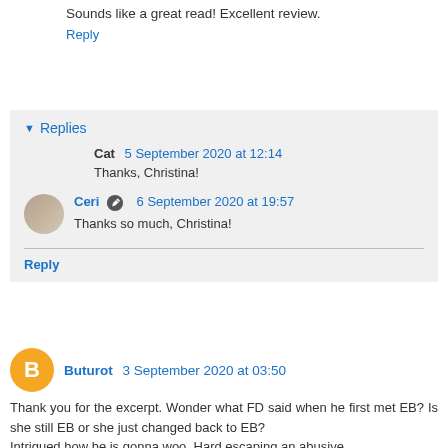Sounds like a great read! Excellent review.
Reply
Replies
Cat 5 September 2020 at 12:14
Thanks, Christina!
Ceri 6 September 2020 at 19:57
Thanks so much, Christina!
Reply
Buturot 3 September 2020 at 03:50
Thank you for the excerpt. Wonder what FD said when he first met EB? Is she still EB or she just changed back to EB?
Intrigued how he is gonna woo. Hard escaping an abusive